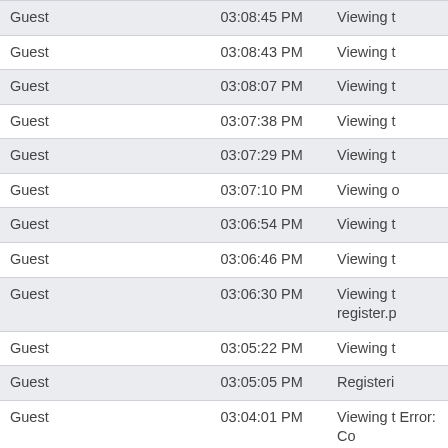| Guest | 03:08:45 PM | Viewing t |
| Guest | 03:08:43 PM | Viewing t |
| Guest | 03:08:07 PM | Viewing t |
| Guest | 03:07:38 PM | Viewing t |
| Guest | 03:07:29 PM | Viewing t |
| Guest | 03:07:10 PM | Viewing o |
| Guest | 03:06:54 PM | Viewing t |
| Guest | 03:06:46 PM | Viewing t |
| Guest | 03:06:30 PM | Viewing t register.p |
| Guest | 03:05:22 PM | Viewing t |
| Guest | 03:05:05 PM | Registeri |
| Guest | 03:04:01 PM | Viewing t Error: Co |
| Guest | 03:03:55 PM | Viewing t |
| Guest | 03:02:47 PM | Viewing t category |
| Guest | 03:02:03 PM | Viewing t |
| Guest | 03:01:56 PM | Viewing t |
| Guest | 03:01:50 PM | Viewi |